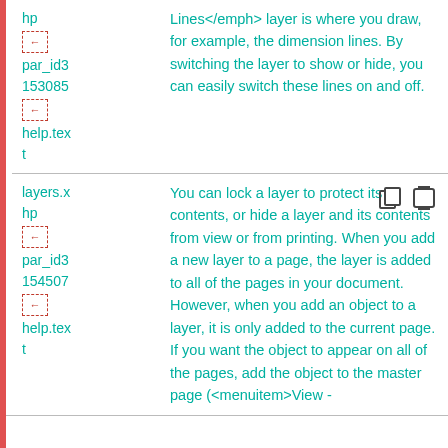| ID/Reference | Description |
| --- | --- |
| hp←
par_id3
153085
←
help.text
t | Lines</emph> layer is where you draw, for example, the dimension lines. By switching the layer to show or hide, you can easily switch these lines on and off. |
| layers.x
hp←
par_id3
154507
←
help.text
t | You can lock a layer to protect its contents, or hide a layer and its contents from view or from printing. When you add a new layer to a page, the layer is added to all of the pages in your document. However, when you add an object to a layer, it is only added to the current page. If you want the object to appear on all of the pages, add the object to the master page (<menuitem>View - Master layouts</menuitem>). |